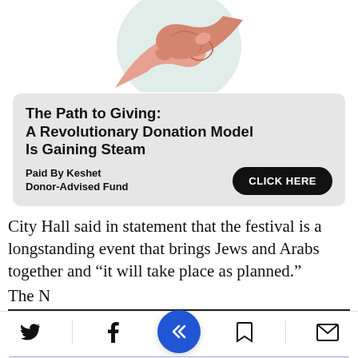[Figure (illustration): Illustration of two hands clasped together (handshake/solidarity), with peach/salmon tones on a light green circular background, partially cropped at top]
[Figure (infographic): Advertisement box with gray background. Title: 'The Path to Giving: A Revolutionary Donation Model Is Gaining Steam'. Sponsor: 'Paid By Keshet Donor-Advised Fund'. Black rounded button: 'CLICK HERE']
City Hall said in statement that the festival is a longstanding event that brings Jews and Arabs together and “it will take place as planned.”
The N... [text cut off]
[Figure (screenshot): Mobile app toolbar with Twitter, Facebook, bookmarks, and email icons; blue circle center button with white arrow icon (Nextdoor or similar app logo)]
[Figure (infographic): Bottom advertisement: 'Collaboration, SECURED.' in blue bold, 'Discover Now' button, 'Accelerate secure collaboration across your enterprise.' subtext. Has close X and play icons.]